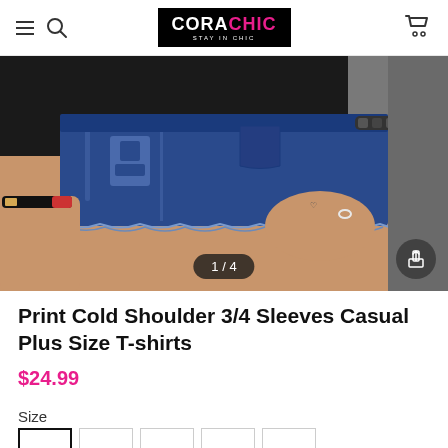CORACHIC - Stay In Chic
[Figure (photo): Product photo showing a person wearing denim cutoff shorts with distressed fraying at the hem, wearing a black top and bracelets. Image counter shows 1/4.]
Print Cold Shoulder 3/4 Sleeves Casual Plus Size T-shirts
$24.99
Size